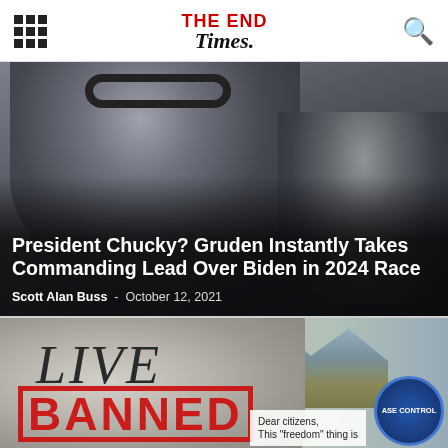THE END Times
[Figure (photo): Two men, one wearing a Raiders football cap and headset (Jon Gruden), another older man in background, dark background]
President Chucky? Gruden Instantly Takes Commanding Lead Over Biden in 2024 Race
Scott Alan Buss - October 12, 2021
[Figure (photo): Stone carving with 'LIVE' in italic text and a red 'BANNED' stamp overlaid. Background shows mountain landscape. A text box reads: 'Dear citizens, This "freedom" thing is' and a CDC-style blue badge in the corner.]